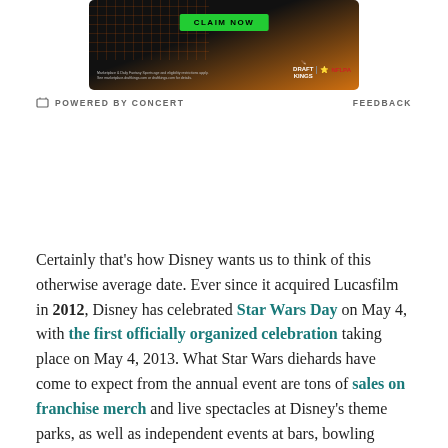[Figure (other): DraftKings / NFLPA advertisement banner with orange and dark background, green 'CLAIM NOW' button, DraftKings and NFLPA logos, fine print text]
POWERED BY CONCERT    FEEDBACK
Certainly that's how Disney wants us to think of this otherwise average date. Ever since it acquired Lucasfilm in 2012, Disney has celebrated Star Wars Day on May 4, with the first officially organized celebration taking place on May 4, 2013. What Star Wars diehards have come to expect from the annual event are tons of sales on franchise merch and live spectacles at Disney's theme parks, as well as independent events at bars, bowling alleys, and